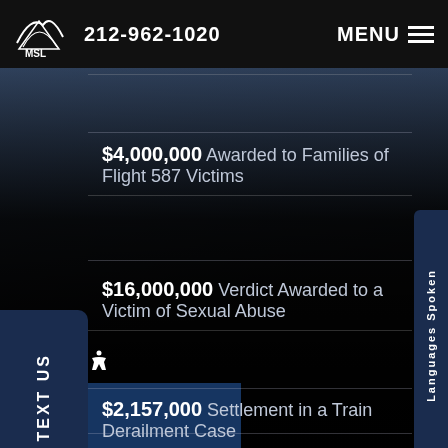MSL PLLC | 212-962-1020 | MENU
$4,100,000 Settlement in a Construction Accident Case
$4,000,000 Awarded to Families of Flight 587 Victims
$16,000,000 Verdict Awarded to a Victim of Sexual Abuse
$2,157,000 Settlement in a Train Derailment Case